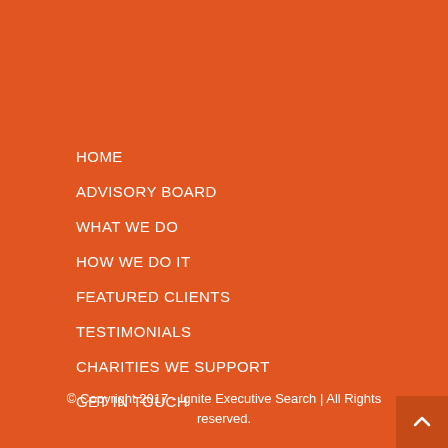HOME
ADVISORY BOARD
WHAT WE DO
HOW WE DO IT
FEATURED CLIENTS
TESTIMONIALS
CHARITIES WE SUPPORT
GET IN TOUCH
© Copyright 2017 - Ignite Executive Search | All Rights reserved.